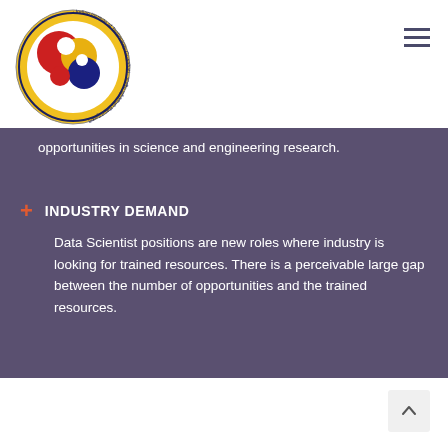[Figure (logo): IIT Guwahati circular logo with yin-yang style design in red, gold, blue, and white colors with text 'Indian Institute of Technology Guwahati' around the border]
opportunities in science and engineering research.
INDUSTRY DEMAND
Data Scientist positions are new roles where industry is looking for trained resources. There is a perceivable large gap between the number of opportunities and the trained resources.